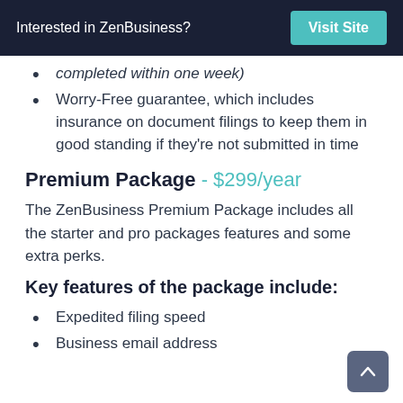Interested in ZenBusiness? Visit Site
completed within one week)
Worry-Free guarantee, which includes insurance on document filings to keep them in good standing if they're not submitted in time
Premium Package - $299/year
The ZenBusiness Premium Package includes all the starter and pro packages features and some extra perks.
Key features of the package include:
Expedited filing speed
Business email address